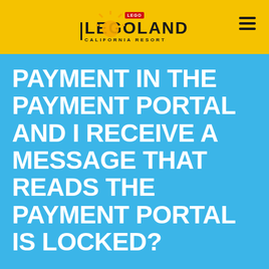[Figure (logo): LEGOLAND California Resort logo with sun icon on yellow header bar]
PAYMENT IN THE PAYMENT PORTAL AND I RECEIVE A MESSAGE THAT READS THE PAYMENT PORTAL IS LOCKED?
The number of days your account may be in default is 45 before your account is permanently closed.  The days we are closed do not apply to the 45-day default period. You can now access the Payment Portal HERE.